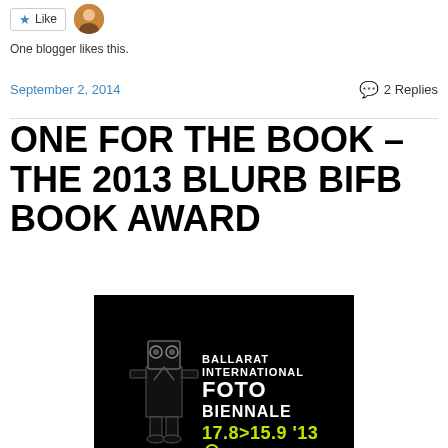[Figure (other): Like button with star icon and user avatar thumbnail]
One blogger likes this.
September 2, 2014   💬 2 Replies
ONE FOR THE BOOK – THE 2013 BLURB BIFB BOOK AWARD
[Figure (photo): Ballarat International Foto Biennale promotional image. Black background with illustrated figure wearing a suit and a camera/speaker box as a head. Text reads: BALLARAT INTERNATIONAL FOTO BIENNALE 17.8>15.9 '13 with a yellow-green circle below.]